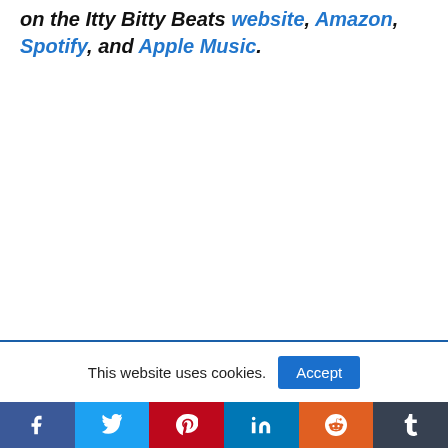on the Itty Bitty Beats website, Amazon, Spotify, and Apple Music.
This website uses cookies.
[Figure (infographic): Social share bar with icons for Facebook, Twitter, Pinterest, LinkedIn, Reddit, and Tumblr]